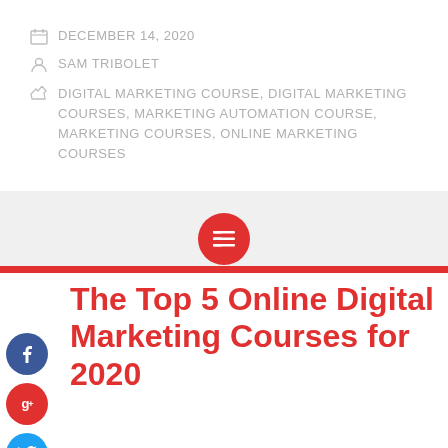DECEMBER 14, 2020
SAM TRIBOLET
DIGITAL MARKETING COURSE, DIGITAL MARKETING COURSES, MARKETING AUTOMATION COURSE, MARKETING COURSES, ONLINE MARKETING COURSES
[Figure (infographic): Social media share bar with Facebook, Google+, Twitter, and Add buttons on the left side; a red horizontal bar across the page with a red circle icon in the center showing a list/menu icon]
The Top 5 Online Digital Marketing Courses for 2020
The 5 top digital marketing courses for the new